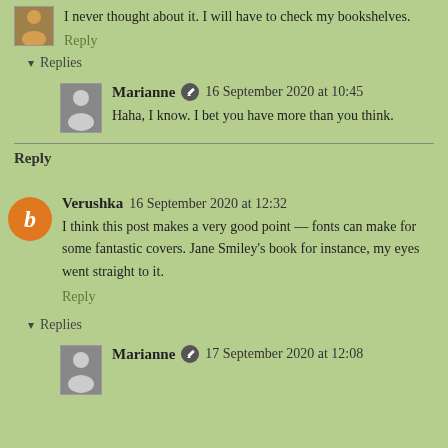I never thought about it. I will have to check my bookshelves.
Reply
Replies
Marianne 16 September 2020 at 10:45
Haha, I know. I bet you have more than you think.
Reply
Verushka 16 September 2020 at 12:32
I think this post makes a very good point — fonts can make for some fantastic covers. Jane Smiley's book for instance, my eyes went straight to it.
Reply
Replies
Marianne 17 September 2020 at 12:08